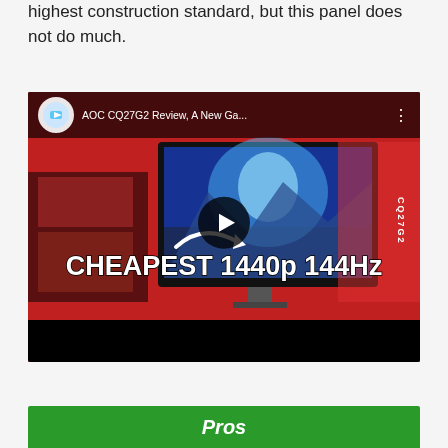highest construction standard, but this panel does not do much.
[Figure (screenshot): YouTube video thumbnail for 'AOC CQ27G2 Review, A New Ga...' by Hardware Unboxed. Shows the monitor displaying a fantasy game scene, with text 'CHEAPEST 1440p 144Hz' overlaid on a red/white background. Play button visible in center.]
Pros